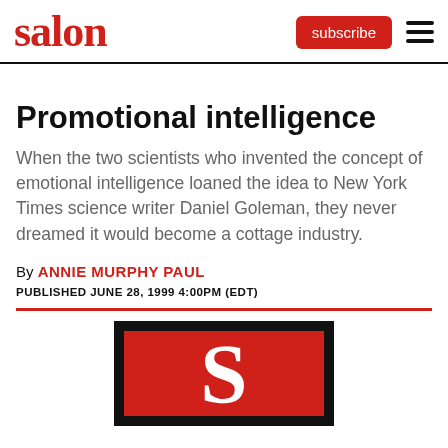salon | subscribe
Promotional intelligence
When the two scientists who invented the concept of emotional intelligence loaned the idea to New York Times science writer Daniel Goleman, they never dreamed it would become a cottage industry.
By ANNIE MURPHY PAUL
PUBLISHED JUNE 28, 1999 4:00PM (EDT)
[Figure (logo): Salon magazine logo — white stylized S on red background, inside black square border]